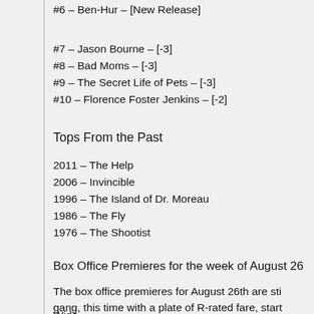#6 – Ben-Hur – [New Release]
#7 – Jason Bourne – [-3]
#8 – Bad Moms – [-3]
#9 – The Secret Life of Pets – [-3]
#10 – Florence Foster Jenkins – [-2]
Tops From the Past
2011 – The Help
2006 – Invincible
1996 – The Island of Dr. Moreau
1986 – The Fly
1976 – The Shootist
Box Office Premieres for the week of August 26
The box office premieres for August 26th are sti gang, this time with a plate of R-rated fare, start
Wide